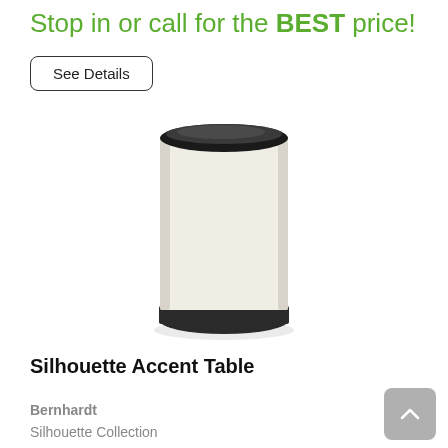Stop in or call for the BEST price!
See Details
[Figure (photo): Product photo of a cylindrical Silhouette Accent Table with a cream/off-white body and dark black trim at the top and base.]
Silhouette Accent Table
Bernhardt
Silhouette Collection